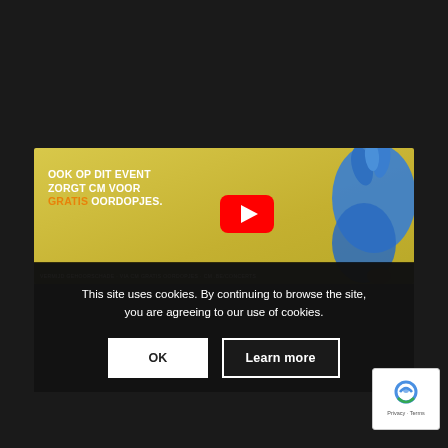[Figure (screenshot): YouTube video thumbnail showing text 'OOK OP DIT EVENT ZORGT CM VOOR GRATIS OORDOPJES.' on a yellow background with a blue bird/mascot character on the right, and a YouTube play button overlay.]
This site uses cookies. By continuing to browse the site, you are agreeing to our use of cookies.
OK
Learn more
[Figure (logo): Google reCAPTCHA badge bottom right with Privacy - Terms text]